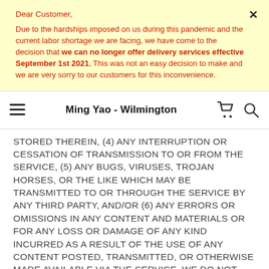Dear Customer,

Due to the hardships imposed on us during this pandemic and the current labor shortage we are facing, we have come to the decision that we can no longer offer delivery services effective September 1st 2021, This was not an easy decision to make and we are very sorry to our customers for this inconvenience.
Ming Yao - Wilmington
STORED THEREIN, (4) ANY INTERRUPTION OR CESSATION OF TRANSMISSION TO OR FROM THE SERVICE, (5) ANY BUGS, VIRUSES, TROJAN HORSES, OR THE LIKE WHICH MAY BE TRANSMITTED TO OR THROUGH THE SERVICE BY ANY THIRD PARTY, AND/OR (6) ANY ERRORS OR OMISSIONS IN ANY CONTENT AND MATERIALS OR FOR ANY LOSS OR DAMAGE OF ANY KIND INCURRED AS A RESULT OF THE USE OF ANY CONTENT POSTED, TRANSMITTED, OR OTHERWISE MADE AVAILABLE VIA THE SERVICE. WE DO NOT WARRANT, ENDORSE, GUARANTEE, OR